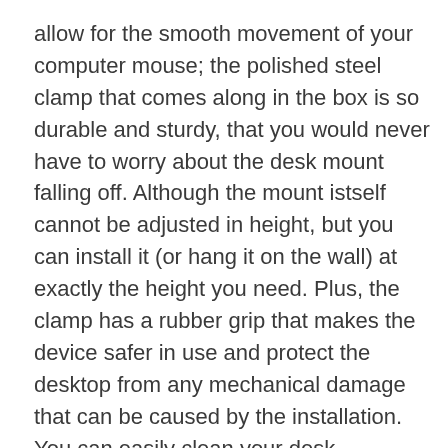allow for the smooth movement of your computer mouse; the polished steel clamp that comes along in the box is so durable and sturdy, that you would never have to worry about the desk mount falling off. Although the mount istself cannot be adjusted in height, but you can install it (or hang it on the wall) at exactly the height you need. Plus, the clamp has a rubber grip that makes the device safer in use and protect the desktop from any mechanical damage that can be caused by the installation. You can easily clean your desk adjustment for keyboards and mouse with wet wipe as the tray is afraid of water.